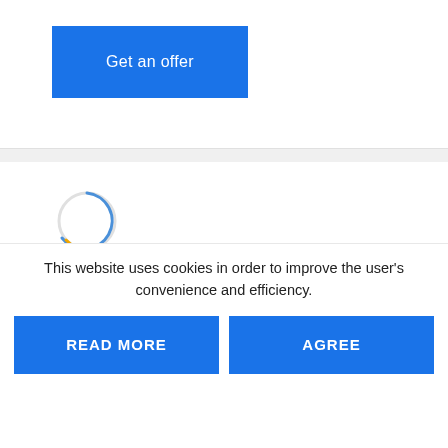[Figure (screenshot): Blue 'Get an offer' button on white card background]
[Figure (other): Circular loading spinner with blue and gold arcs on white card]
MEGABAK
This website uses cookies in order to improve the user's convenience and efficiency.
READ MORE
AGREE